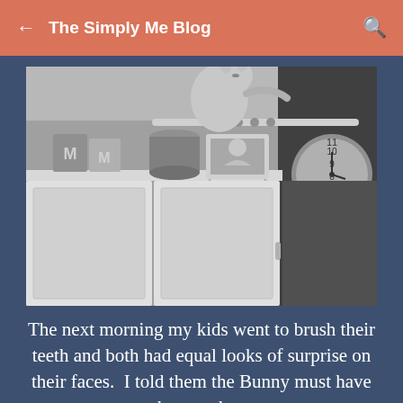The Simply Me Blog
[Figure (photo): Black and white photograph of the top of kitchen cabinets with a stuffed animal bunny, a cylindrical container, a framed photo of a child, decorative letters 'M', and a wall clock visible on the right side.]
The next morning my kids went to brush their teeth and both had equal looks of surprise on their faces.  I told them the Bunny must have known they